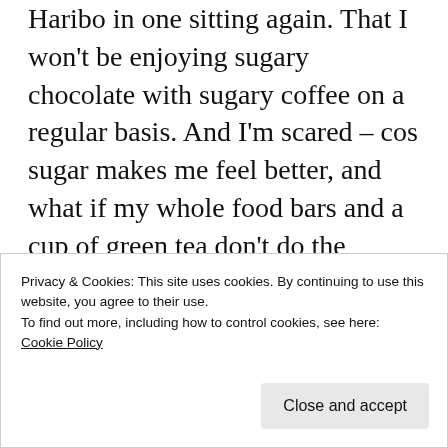Haribo in one sitting again. That I won't be enjoying sugary chocolate with sugary coffee on a regular basis. And I'm scared – cos sugar makes me feel better, and what if my whole food bars and a cup of green tea don't do the same?
[Figure (other): Green advertisement banner with white bold text: 'The best real-time WordPress backup plugin']
Privacy & Cookies: This site uses cookies. By continuing to use this website, you agree to their use.
To find out more, including how to control cookies, see here:
Cookie Policy
Close and accept